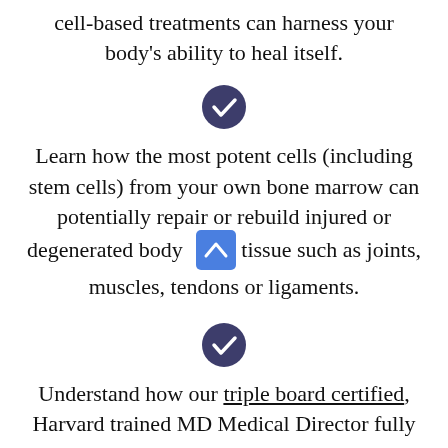cell-based treatments can harness your body's ability to heal itself.
[Figure (illustration): Dark purple checkmark circle icon]
Learn how the most potent cells (including stem cells) from your own bone marrow can potentially repair or rebuild injured or degenerated body tissue such as joints, muscles, tendons or ligaments.
[Figure (illustration): Dark purple checkmark circle icon]
Understand how our triple board certified, Harvard trained MD Medical Director fully assesses your problems